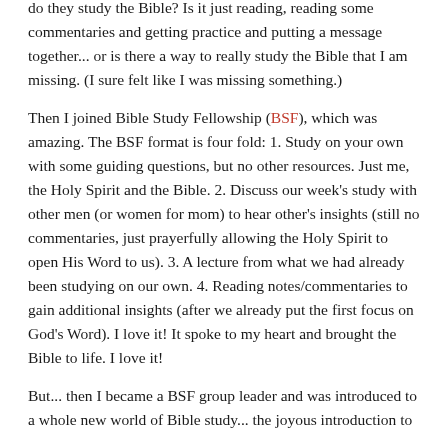do they study the Bible? Is it just reading, reading some commentaries and getting practice and putting a message together... or is there a way to really study the Bible that I am missing. (I sure felt like I was missing something.)
Then I joined Bible Study Fellowship (BSF), which was amazing. The BSF format is four fold: 1. Study on your own with some guiding questions, but no other resources. Just me, the Holy Spirit and the Bible. 2. Discuss our week's study with other men (or women for mom) to hear other's insights (still no commentaries, just prayerfully allowing the Holy Spirit to open His Word to us). 3. A lecture from what we had already been studying on our own. 4. Reading notes/commentaries to gain additional insights (after we already put the first focus on God's Word). I love it! It spoke to my heart and brought the Bible to life. I love it!
But... then I became a BSF group leader and was introduced to a whole new world of Bible study... the joyous introduction to